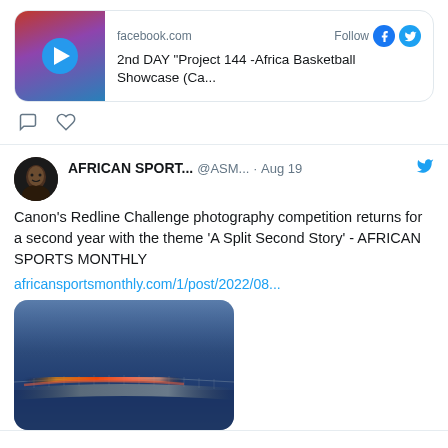[Figure (screenshot): Facebook link card showing a basketball video thumbnail with play button, source 'facebook.com', Follow button with Facebook and Twitter icons, and title '2nd DAY "Project 144 -Africa Basketball Showcase (Ca...']
[Figure (infographic): Social media action icons: comment bubble and heart/like icons]
[Figure (screenshot): Twitter avatar for African Sports Monthly showing a person's face]
AFRICAN SPORT... @ASM... · Aug 19 Canon's Redline Challenge photography competition returns for a second year with the theme 'A Split Second Story' - AFRICAN SPORTS MONTHLY africansportsmonthly.com/1/post/2022/08...
[Figure (photo): Long-exposure night photo of a bridge with orange/red light trails curving across a foggy blue scene]